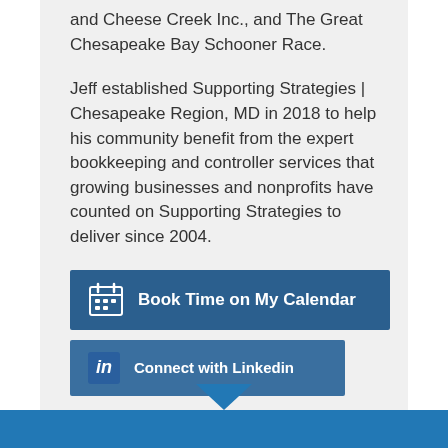and Cheese Creek Inc., and The Great Chesapeake Bay Schooner Race.
Jeff established Supporting Strategies | Chesapeake Region, MD in 2018 to help his community benefit from the expert bookkeeping and controller services that growing businesses and nonprofits have counted on Supporting Strategies to deliver since 2004.
[Figure (other): Button: Book Time on My Calendar with calendar icon]
[Figure (other): Button: Connect with Linkedin with LinkedIn logo icon]